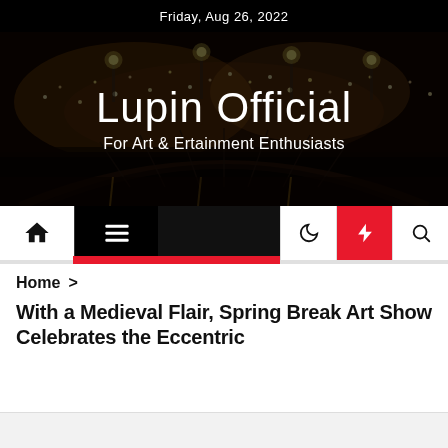Friday, Aug 26, 2022
Lupin Official
For Art & Ertainment Enthusiasts
[Figure (screenshot): Navigation bar with home icon, hamburger menu icon, moon/dark mode icon, lightning/breaking news icon (red background), and search icon]
Home >
With a Medieval Flair, Spring Break Art Show Celebrates the Eccentric